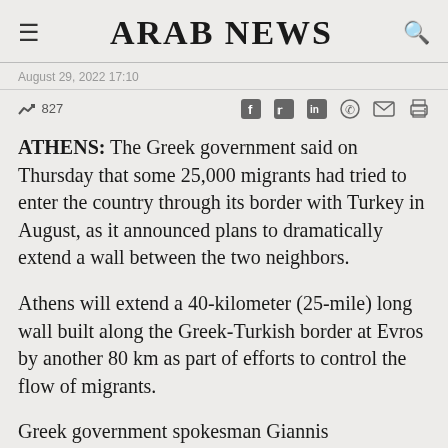ARAB NEWS
August 29, 2022 17:10
827
ATHENS: The Greek government said on Thursday that some 25,000 migrants had tried to enter the country through its border with Turkey in August, as it announced plans to dramatically extend a wall between the two neighbors.
Athens will extend a 40-kilometer (25-mile) long wall built along the Greek-Turkish border at Evros by another 80 km as part of efforts to control the flow of migrants.
Greek government spokesman Giannis